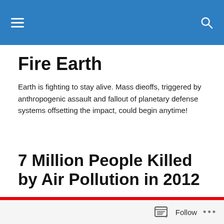Fire Earth [navigation bar with hamburger menu and search icon]
Fire Earth
Earth is fighting to stay alive. Mass dieoffs, triggered by anthropogenic assault and fallout of planetary defense systems offsetting the impact, could begin anytime!
7 Million People Killed by Air Pollution in 2012
Posted by feww
ENVIRONMENTAL HOLOCAUST
Follow ...